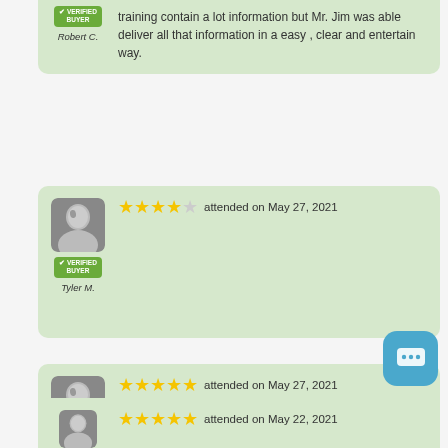training contain a lot information but Mr. Jim was able deliver all that information in a easy , clear and entertain way.
[Figure (other): Verified buyer reviewer card: Robert C., 4-star review attended May 27 2021 (partial top)]
[Figure (other): Verified buyer reviewer card: Tyler M., 4-star review attended May 27, 2021, no review text]
[Figure (other): Verified buyer reviewer card: Zackery O., 5-star review attended May 27, 2021]
Great class very informative I learned a lot! Teacher was very helpful with everything and all questions asked!
[Figure (other): Verified buyer reviewer card: partial, 5-star review attended May 22, 2021 (bottom, cut off)]